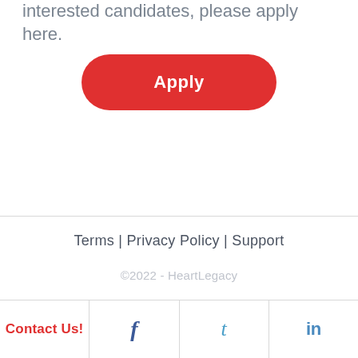interested candidates, please apply here.
[Figure (other): Red rounded Apply button]
Terms | Privacy Policy | Support
©2022 - HeartLegacy
Contact Us!
[Figure (logo): Facebook f icon]
[Figure (logo): Twitter t icon]
[Figure (logo): LinkedIn in icon]